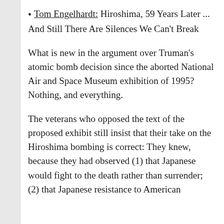Tom Engelhardt: Hiroshima, 59 Years Later ... And Still There Are Silences We Can't Break
What is new in the argument over Truman's atomic bomb decision since the aborted National Air and Space Museum exhibition of 1995? Nothing, and everything.
The veterans who opposed the text of the proposed exhibit still insist that their take on the Hiroshima bombing is correct: They knew, because they had observed (1) that Japanese would fight to the death rather than surrender; (2) that Japanese resistance to American